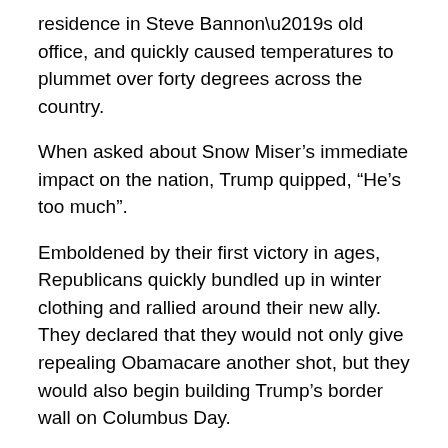residence in Steve Bannon’s old office, and quickly caused temperatures to plummet over forty degrees across the country.
When asked about Snow Miser’s immediate impact on the nation, Trump quipped, “He’s too much”.
Emboldened by their first victory in ages, Republicans quickly bundled up in winter clothing and rallied around their new ally.  They declared that they would not only give repealing Obamacare another shot, but they would also begin building Trump’s border wall on Columbus Day.
And then they threw snowballs at the office windows of their Democratic rivals.
When asked why Snow Miser’s presence suddenly gave the stagnant party a newfound energy, one Republican